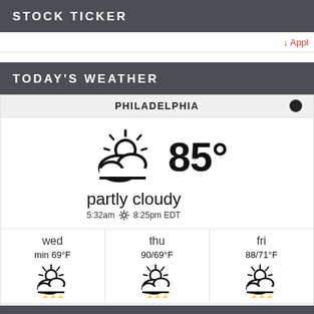STOCK TICKER
↓ Appl
TODAY'S WEATHER
PHILADELPHIA
[Figure (infographic): Partly cloudy weather icon with sun and cloud, showing 85° temperature, condition 'partly cloudy', sunrise 5:32am sunset 8:25pm EDT]
partly cloudy
5:32am ☼ 8:25pm EDT
| wed | thu | fri |
| --- | --- | --- |
| min 69°F | 90/69°F | 88/71°F |
Weather forecast Philadelphia, Pennsylvania ▶